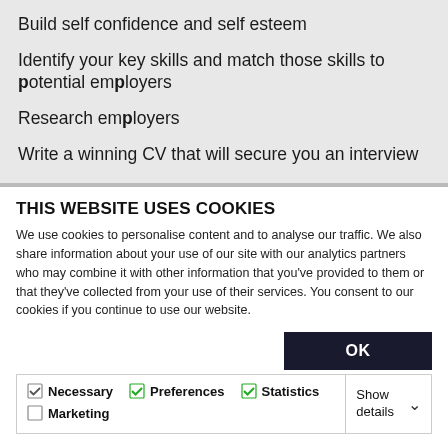Build self confidence and self esteem
Identify your key skills and match those skills to potential employers
Research employers
Write a winning CV that will secure you an interview
THIS WEBSITE USES COOKIES
We use cookies to personalise content and to analyse our traffic. We also share information about your use of our site with our analytics partners who may combine it with other information that you've provided to them or that they've collected from your use of their services. You consent to our cookies if you continue to use our website.
OK
Necessary | Preferences | Statistics | Marketing | Show details